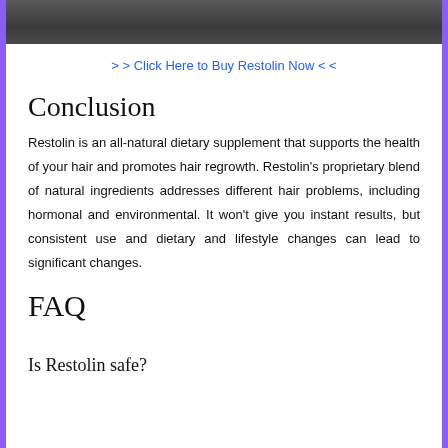[Figure (photo): Top portion of a bathroom scene with a toilet visible, dark/grey toned image]
> > Click Here to Buy Restolin Now < <
Conclusion
Restolin is an all-natural dietary supplement that supports the health of your hair and promotes hair regrowth. Restolin's proprietary blend of natural ingredients addresses different hair problems, including hormonal and environmental. It won't give you instant results, but consistent use and dietary and lifestyle changes can lead to significant changes.
FAQ
Is Restolin safe?